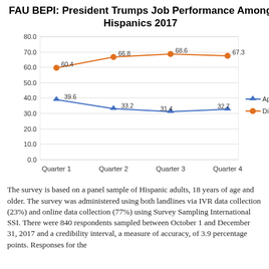[Figure (line-chart): FAU BEPI: President Trumps Job Performance Among Hispanics 2017]
The survey is based on a panel sample of Hispanic adults, 18 years of age and older. The survey was administered using both landlines via IVR data collection (23%) and online data collection (77%) using Survey Sampling International SSI. There were 840 respondents sampled between October 1 and December 31, 2017 and a credibility interval, a measure of accuracy, of 3.9 percentage points. Responses for the